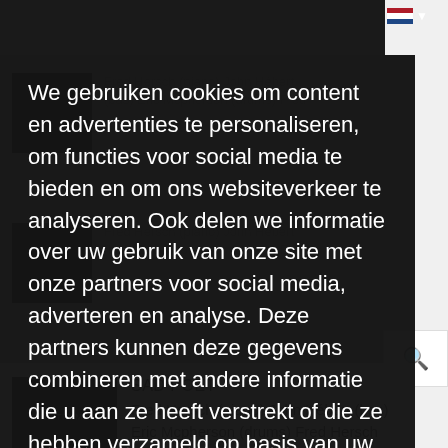We gebruiken cookies om content en advertenties te personaliseren, om functies voor social media te bieden en om ons websiteverkeer te analyseren. Ook delen we informatie over uw gebruik van onze site met onze partners voor social media, adverteren en analyse. Deze partners kunnen deze gegevens combineren met andere informatie die u aan ze heeft verstrekt of die ze hebben verzameld op basis van uw gebruik van hun services.
Details weergeven
Accepteer Cookies!
SAD POET
Fred Hersch (piano) John Hébert (bas) Eric Mcpherson (drums) Fred Hersch Trio